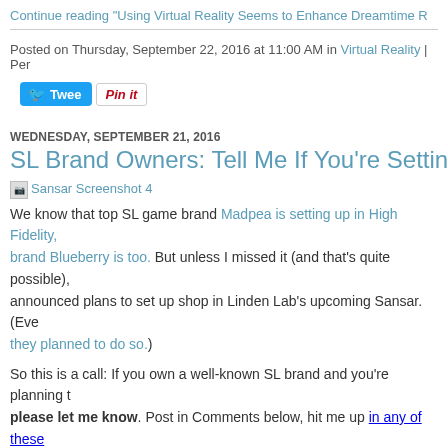Continue reading "Using Virtual Reality Seems to Enhance Dreamtime R
Posted on Thursday, September 22, 2016 at 11:00 AM in Virtual Reality | Per
[Figure (screenshot): Tweet and Pin it social sharing buttons]
WEDNESDAY, SEPTEMBER 21, 2016
SL Brand Owners: Tell Me If You're Setting Up In Sansar
[Figure (photo): Broken image placeholder: Sansar Screenshot 4]
We know that top SL game brand Madpea is setting up in High Fidelity, brand Blueberry is too. But unless I missed it (and that's quite possible), announced plans to set up shop in Linden Lab's upcoming Sansar. (Eve they planned to do so.)
So this is a call: If you own a well-known SL brand and you're planning t please let me know. Post in Comments below, hit me up in any of these I'd love to know what you're planning.
Continue reading "SL Brand Owners: Tell Me If You're Setting Up in San